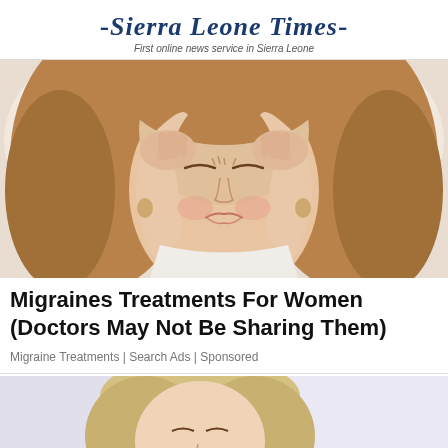-Sierra Leone Times- First online news service in Sierra Leone
[Figure (photo): Woman with brown hair holding her hands to her temples, eyes closed, grimacing in pain from a migraine headache]
Migraines Treatments For Women (Doctors May Not Be Sharing Them)
Migraine Treatments | Search Ads | Sponsored
[Figure (photo): Blonde woman with eyes closed appearing to be in pain, partial view from shoulders up]